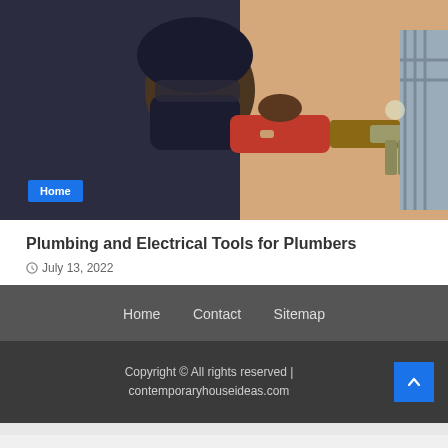[Figure (photo): A person wearing a black face mask, safety glasses, and a dark headband using a red power drill/tool on plumbing pipes. Another person in a plaid shirt is visible on the right. The background shows a warm beige wall. A blue 'Home' badge is overlaid in the bottom-left of the image.]
Plumbing and Electrical Tools for Plumbers
July 13, 2022
Home   Contact   Sitemap
Copyright © All rights reserved | contemporaryhouseideas.com